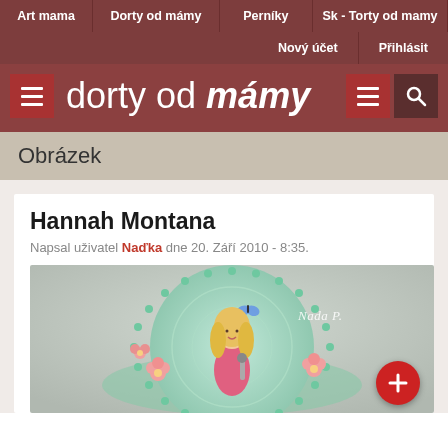Art mama | Dorty od mámy | Perníky | Sk - Torty od mamy | Nový účet | Přihlásit
[Figure (screenshot): Website header with 'dorty od mámy' logo in white italic text on dark red background, with hamburger menu icons and search icon]
Obrázek
Hannah Montana
Napsal uživatel Naďka dne 20. Září 2010 - 8:35.
[Figure (photo): Cake decorated with Hannah Montana theme — a round cake with green pearl border, flowers, and a figure of Hannah Montana holding a microphone, with 'Nada P.' text watermark]